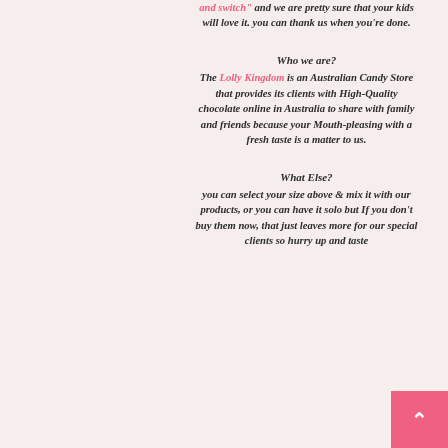and switch" and we are pretty sure that your kids will love it. you can thank us when you're done.
Who we are?
The Lolly Kingdom is an Australian Candy Store that provides its clients with High-Quality chocolate online in Australia to share with family and friends because your Mouth-pleasing with a fresh taste is a matter to us.
What Else?
you can select your size above & mix it with our products, or you can have it solo but If you don't buy them now, that just leaves more for our special clients so hurry up and taste